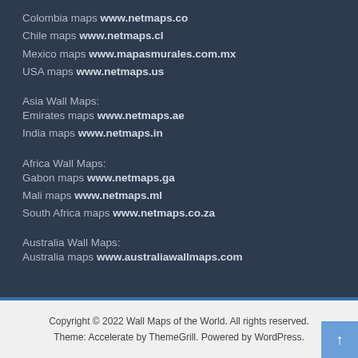Colombia maps www.netmaps.co
Chile maps www.netmaps.cl
Mexico maps www.mapasmurales.com.mx
USA maps www.netmaps.us
Asia Wall Maps:
Emirates maps www.netmaps.ae
India maps www.netmaps.in
Africa Wall Maps:
Gabon maps www.netmaps.ga
Mali maps www.netmaps.ml
South Africa maps www.netmaps.co.za
Australia Wall Maps:
Australia maps www.australiawallmaps.com
Copyright © 2022 Wall Maps of the World. All rights reserved.
Theme: Accelerate by ThemeGrill. Powered by WordPress.